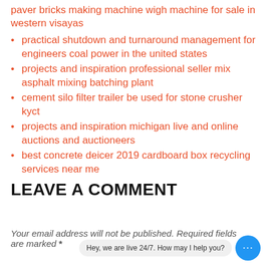paver bricks making machine wigh machine for sale in western visayas
practical shutdown and turnaround management for engineers coal power in the united states
projects and inspiration professional seller mix asphalt mixing batching plant
cement silo filter trailer be used for stone crusher kyct
projects and inspiration michigan live and online auctions and auctioneers
best concrete deicer 2019 cardboard box recycling services near me
LEAVE A COMMENT
Your email address will not be published. Required fields are marked *